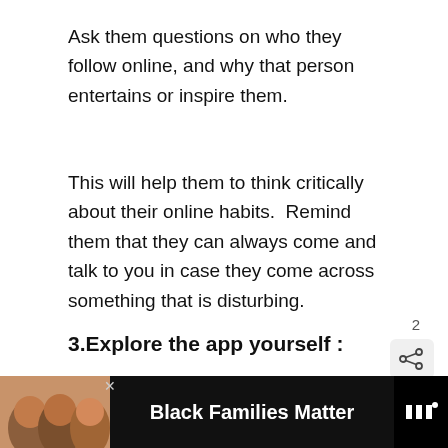Ask them questions on who they follow online, and why that person entertains or inspire them.
This will help them to think critically about their online habits.  Remind them that they can always come and talk to you in case they come across something that is disturbing.
3.Explore the app yourself :
The best way to understand the app is to use yourself.
You can then follow your child, so you know what your child is viewing and sharing.
[Figure (screenshot): Social media UI overlay showing a like button (teal circle with heart icon), share icon, count of 2, and a 'What's Next' suggestion card for 'Is houseparty app safe?...']
[Figure (infographic): Ad banner at the bottom: photo of children on the left, bold white text 'Black Families Matter' in the center on dark background, logo on right.]